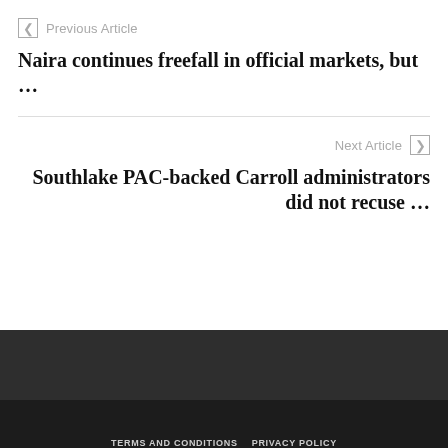Previous Article
Naira continues freefall in official markets, but …
Next Article
Southlake PAC-backed Carroll administrators did not recuse …
TERMS AND CONDITIONS   PRIVACY POLICY